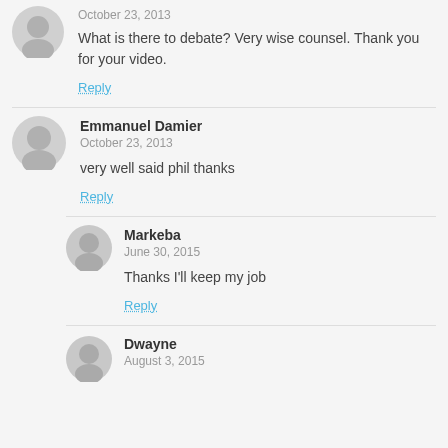October 23, 2013
What is there to debate? Very wise counsel. Thank you for your video.
Reply
Emmanuel Damier
October 23, 2013
very well said phil thanks
Reply
Markeba
June 30, 2015
Thanks I'll keep my job
Reply
Dwayne
August 3, 2015